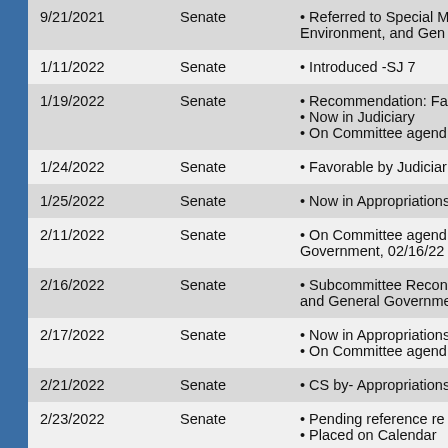| Date | Chamber | Action |
| --- | --- | --- |
| 9/21/2021 | Senate | • Referred to Special M Environment, and Gen |
| 1/11/2022 | Senate | • Introduced -SJ 7 |
| 1/19/2022 | Senate | • Recommendation: Fa
• Now in Judiciary
• On Committee agend |
| 1/24/2022 | Senate | • Favorable by Judiciar |
| 1/25/2022 | Senate | • Now in Appropriations |
| 2/11/2022 | Senate | • On Committee agend Government, 02/16/22 |
| 2/16/2022 | Senate | • Subcommittee Recon and General Governme |
| 2/17/2022 | Senate | • Now in Appropriations
• On Committee agend |
| 2/21/2022 | Senate | • CS by- Appropriations |
| 2/23/2022 | Senate | • Pending reference re
• Placed on Calendar |